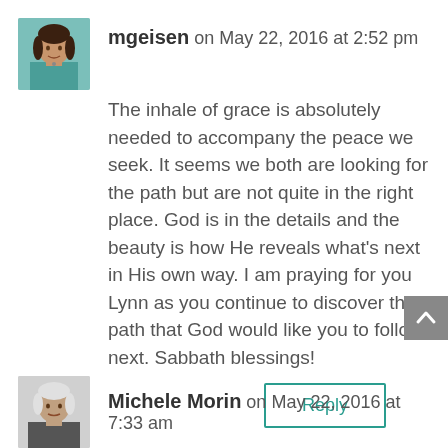[Figure (photo): Avatar photo of mgeisen, a woman in a teal/blue top]
mgeisen on May 22, 2016 at 2:52 pm
The inhale of grace is absolutely needed to accompany the peace we seek. It seems we both are looking for the path but are not quite in the right place. God is in the details and the beauty is how He reveals what's next in His own way. I am praying for you Lynn as you continue to discover the path that God would like you to follow next. Sabbath blessings!
Reply
[Figure (photo): Avatar photo of Michele Morin, an older woman with white/silver hair]
Michele Morin on May 22, 2016 at 7:33 am